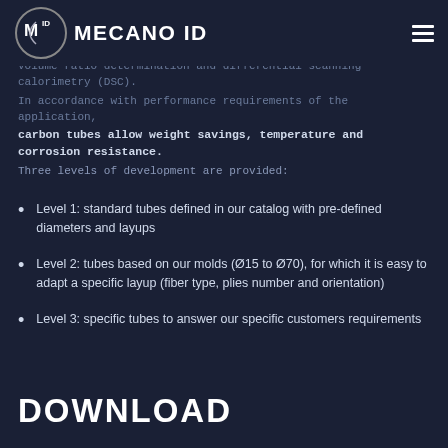MECANO ID
layups are available. Our aerospace qualified tubes are validated by a series of acceptance tests including: ultrasonic, micrography, void volume ratio determination and differential scanning calorimetry (DSC). In accordance with performance requirements of the application, carbon tubes allow weight savings, temperature and corrosion resistance. Three levels of development are provided:
Level 1: standard tubes defined in our catalog with pre-defined diameters and layups
Level 2: tubes based on our molds (Ø15 to Ø70), for which it is easy to adapt a specific layup (fiber type, plies number and orientation)
Level 3: specific tubes to answer our specific customers requirements
DOWNLOAD